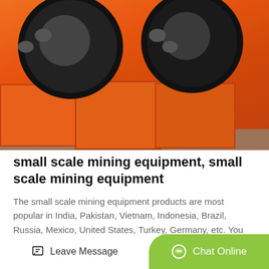[Figure (photo): Orange industrial jaw crusher machines with large black flywheel wheels on top, stacked in a warehouse setting on grey concrete floor.]
small scale mining equipment, small scale mining equipment
The small scale mining equipment products are most popular in India, Pakistan, Vietnam, Indonesia, Brazil, Russia, Mexico, United States, Turkey, Germany, etc. You can ensure product safety from certified suppliers certified...
Get Price
Leave Message
Chat Online